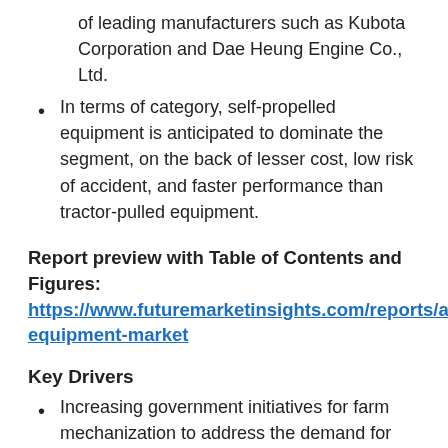of leading manufacturers such as Kubota Corporation and Dae Heung Engine Co., Ltd.
In terms of category, self-propelled equipment is anticipated to dominate the segment, on the back of lesser cost, low risk of accident, and faster performance than tractor-pulled equipment.
Report preview with Table of Contents and Figures: https://www.futuremarketinsights.com/reports/agriculture-equipment-market
Key Drivers
Increasing government initiatives for farm mechanization to address the demand for food